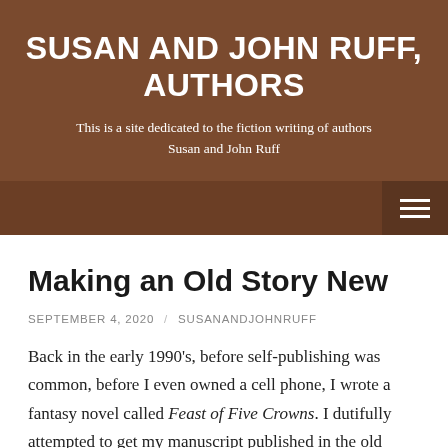SUSAN AND JOHN RUFF, AUTHORS
This is a site dedicated to the fiction writing of authors Susan and John Ruff
Making an Old Story New
SEPTEMBER 4, 2020 / SUSANANDJOHNRUFF
Back in the early 1990’s, before self-publishing was common, before I even owned a cell phone, I wrote a fantasy novel called Feast of Five Crowns. I dutifully attempted to get my manuscript published in the old